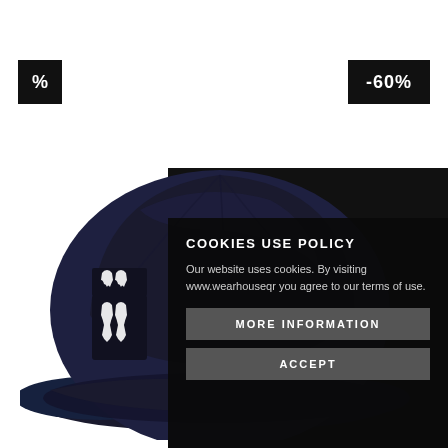[Figure (other): Black square badge with white percent sign]
[Figure (other): Black rectangular badge with white text -60%]
[Figure (photo): Dark navy blue bucket hat with Kappa brand logo patches on the side]
COOKIES USE POLICY
Our website uses cookies. By visiting www.wearhouseqr you agree to our terms of use.
MORE INFORMATION
ACCEPT